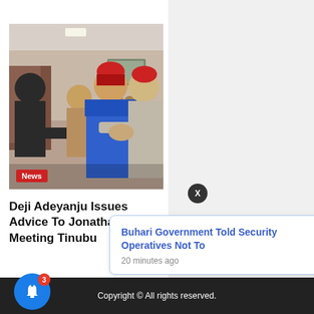[Figure (photo): Photograph of men shaking hands at an indoor meeting, one wearing a blue traditional outfit and red cap, another in gray attire.]
News
Deji Adeyanju Issues Advice To Jonathan After Meeting Tinubu
Buhari Government Told Security Operatives Not To
20 minutes ago
Copyright © All rights reserved.